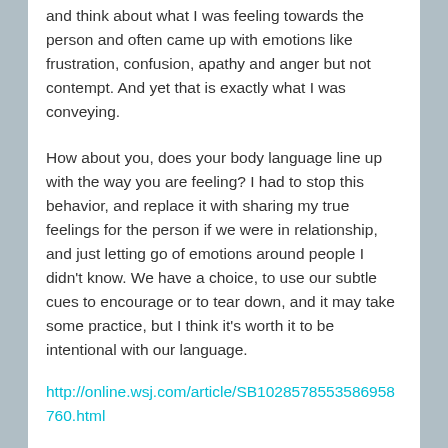and think about what I was feeling towards the person and often came up with emotions like frustration, confusion, apathy and anger but not contempt. And yet that is exactly what I was conveying.
How about you, does your body language line up with the way you are feeling? I had to stop this behavior, and replace it with sharing my true feelings for the person if we were in relationship, and just letting go of emotions around people I didn't know. We have a choice, to use our subtle cues to encourage or to tear down, and it may take some practice, but I think it's worth it to be intentional with our language.
http://online.wsj.com/article/SB1028578553586958760.html